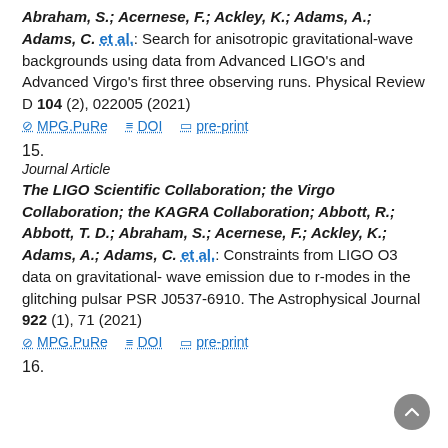Abraham, S.; Acernese, F.; Ackley, K.; Adams, A.; Adams, C. et al.: Search for anisotropic gravitational-wave backgrounds using data from Advanced LIGO's and Advanced Virgo's first three observing runs. Physical Review D 104 (2), 022005 (2021)
MPG.PuRe  DOI  pre-print
15.
Journal Article
The LIGO Scientific Collaboration; the Virgo Collaboration; the KAGRA Collaboration; Abbott, R.; Abbott, T. D.; Abraham, S.; Acernese, F.; Ackley, K.; Adams, A.; Adams, C. et al.: Constraints from LIGO O3 data on gravitational-wave emission due to r-modes in the glitching pulsar PSR J0537-6910. The Astrophysical Journal 922 (1), 71 (2021)
MPG.PuRe  DOI  pre-print
16.